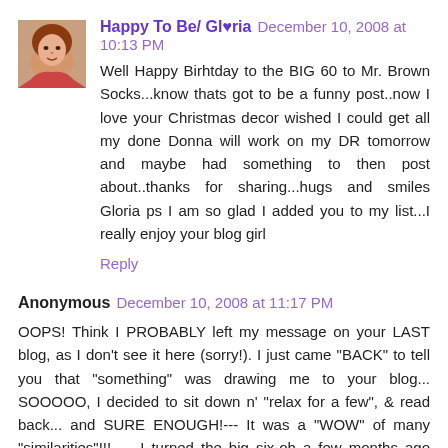Happy To Be/ Gloria  December 10, 2008 at 10:13 PM
Well Happy Birhtday to the BIG 60 to Mr. Brown Socks...know thats got to be a funny post..now I love your Christmas decor wished I could get all my done Donna will work on my DR tomorrow and maybe had something to then post about..thanks for sharing...hugs and smiles Gloria ps I am so glad I added you to my list...I really enjoy your blog girl
Reply
Anonymous  December 10, 2008 at 11:17 PM
OOPS! Think I PROBABLY left my message on your LAST blog, as I don't see it here (sorry!). I just came "BACK" to tell you that "something" was drawing me to your blog... SOOOOO, I decided to sit down n' "relax for a few", & read back... and SURE ENOUGH!--- It was a "WOW" of many "similarities"!!! --- I turned the big six-oh a few months ago (am waaay too young to be "THIS OLD"... does your DH